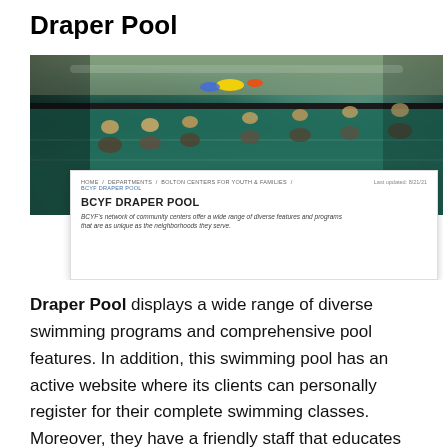Draper Pool
[Figure (screenshot): Screenshot of BCYF Draper Pool webpage overlaid on a photo of people in an indoor swimming pool. The webpage shows breadcrumb navigation (HOME / DEPARTMENTS / BOLTON CENTERS FOR YOUTH & FAMILIES / BCYF DRAPER POOL), a last updated date of 8/21/21, the heading 'BCYF DRAPER POOL', and a description in italic: 'BCYF's network of community centers offer a wide range of diverse features and programs that are as unique as the neighborhoods they serve.']
Draper Pool displays a wide range of diverse swimming programs and comprehensive pool features. In addition, this swimming pool has an active website where its clients can personally register for their complete swimming classes. Moreover, they have a friendly staff that educates their clients